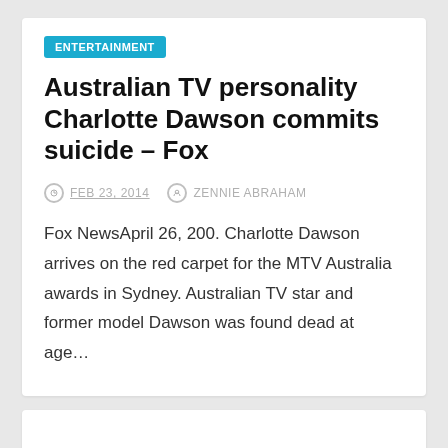ENTERTAINMENT
Australian TV personality Charlotte Dawson commits suicide – Fox
FEB 23, 2014   ZENNIE ABRAHAM
Fox NewsApril 26, 200. Charlotte Dawson arrives on the red carpet for the MTV Australia awards in Sydney. Australian TV star and former model Dawson was found dead at age…
ENTERTAINMENT